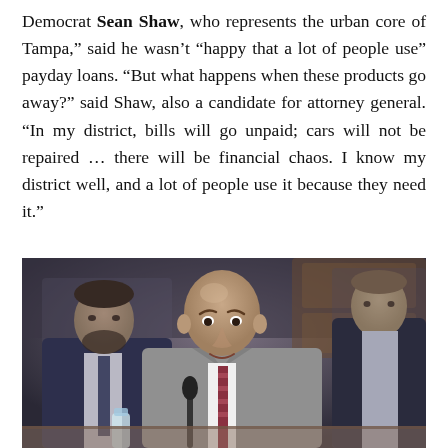Democrat Sean Shaw, who represents the urban core of Tampa,” said he wasn’t “happy that a lot of people use” payday loans. “But what happens when these products go away?” said Shaw, also a candidate for attorney general. “In my district, bills will go unpaid; cars will not be repaired … there will be financial chaos. I know my district well, and a lot of people use it because they need it.”
[Figure (photo): A bald man in a gray suit and striped tie speaks at what appears to be a legislative hearing or committee meeting. Two other men in suits are seated behind him, one with a beard in a dark suit on the left, and another in a dark suit on the right.]